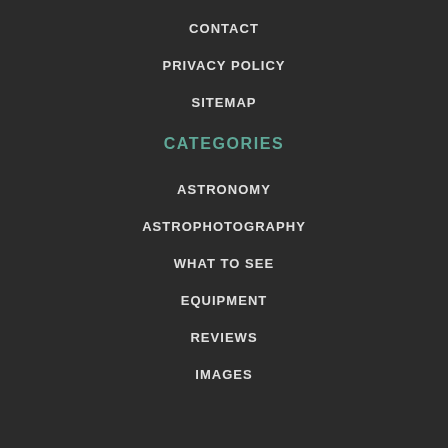CONTACT
PRIVACY POLICY
SITEMAP
CATEGORIES
ASTRONOMY
ASTROPHOTOGRAPHY
WHAT TO SEE
EQUIPMENT
REVIEWS
IMAGES